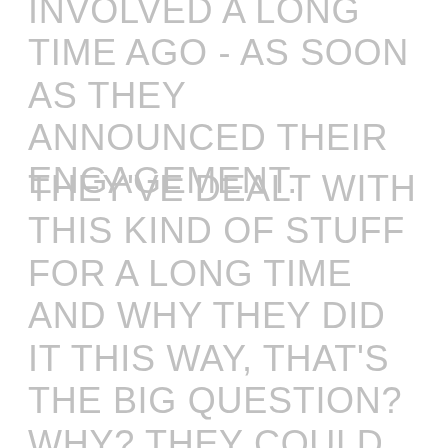INVOLVED A LONG TIME AGO - AS SOON AS THEY ANNOUNCED THEIR ENGAGEMENT.
THEY'VE DEALT WITH THIS KIND OF STUFF FOR A LONG TIME AND WHY THEY DID IT THIS WAY, THAT'S THE BIG QUESTION? WHY? THEY COULD HAVE LOOKED AFTER MY DAD AND HE WOULD HAVE BEEN HAPPY.'